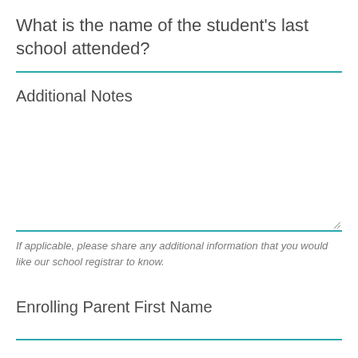What is the name of the student's last school attended?
Additional Notes
If applicable, please share any additional information that you would like our school registrar to know.
Enrolling Parent First Name